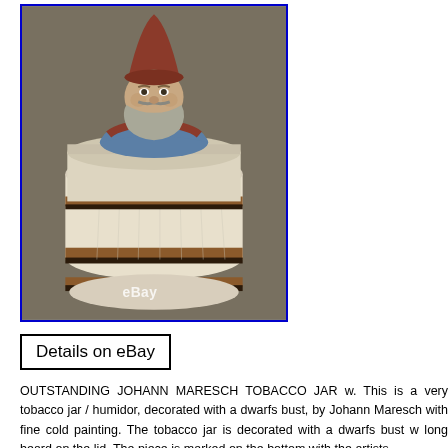[Figure (photo): A ceramic tobacco jar / humidor shaped like a barrel with a dwarf bust lid. The dwarf has a red pointed hat, grey beard, and blue clothing. The barrel is cream/beige colored with brown and black bands. An eBay watermark is visible on the image. The photo has a blue border.]
Details on eBay
OUTSTANDING JOHANN MARESCH TOBACCO JAR w. This is a very tobacco jar / humidor, decorated with a dwarfs bust, by Johann Maresch with fine cold painting. The tobacco jar is decorated with a dwarfs bust w long beard on the lid. The piece is marked on the bottom with the artists